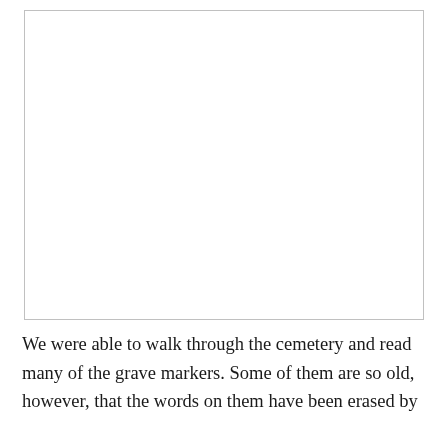[Figure (photo): A large white/blank rectangular image area representing a photograph of a cemetery or grave markers, shown as an empty white box with a light border.]
We were able to walk through the cemetery and read many of the grave markers. Some of them are so old, however, that the words on them have been erased by